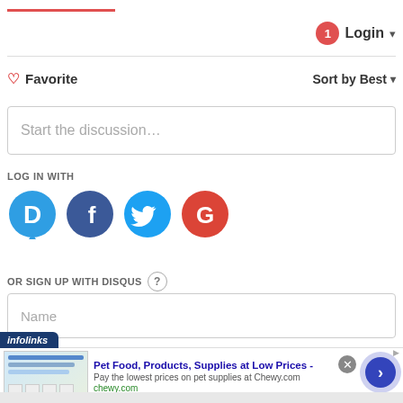[Figure (screenshot): Disqus comment widget interface showing Login button with notification badge, Favorite and Sort by Best controls, a discussion text input, social login icons (Disqus, Facebook, Twitter, Google), OR SIGN UP WITH DISQUS label with help icon, and a Name input field]
[Figure (infographic): Infolinks advertisement banner for Chewy.com pet food supplies with ad image, title 'Pet Food, Products, Supplies at Low Prices -', description text, chewy.com URL, close button, and navigation arrow button]